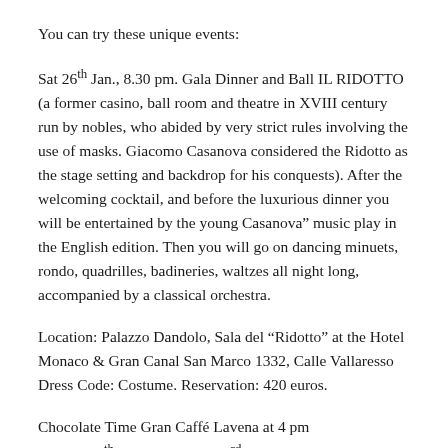You can try these unique events:
Sat 26th Jan., 8.30 pm. Gala Dinner and Ball IL RIDOTTO (a former casino, ball room and theatre in XVIII century run by nobles, who abided by very strict rules involving the use of masks. Giacomo Casanova considered the Ridotto as the stage setting and backdrop for his conquests). After the welcoming cocktail, and before the luxurious dinner you will be entertained by the young Casanova" music play in the English edition. Then you will go on dancing minuets, rondo, quadrilles, badineries, waltzes all night long, accompanied by a classical orchestra.
Location: Palazzo Dandolo, Sala del “Ridotto” at the Hotel Monaco & Gran Canal San Marco 1332, Calle Vallaresso Dress Code: Costume. Reservation: 420 euros.
Chocolate Time Gran Caffé Lavena at 4 pm Sunday 27th Jan. and Sunday 3rd Feb. Piazza San Marco.